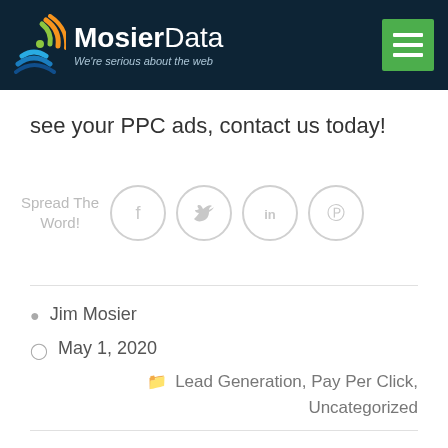MosierData — We're serious about the web
see your PPC ads, contact us today!
[Figure (infographic): Social share icons: Spread The Word! with Facebook, Twitter, LinkedIn, Pinterest circle icons in gray]
Jim Mosier
May 1, 2020
Lead Generation, Pay Per Click, Uncategorized
Related Posts